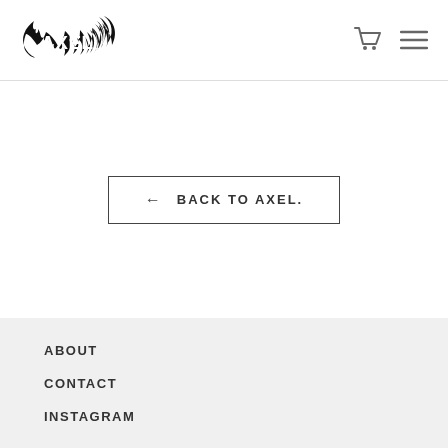[Figure (logo): AXEL Co. logo with flame graphic in black]
← BACK TO AXEL.
ABOUT
CONTACT
INSTAGRAM